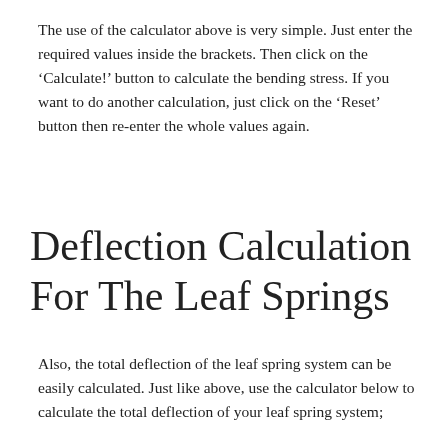The use of the calculator above is very simple. Just enter the required values inside the brackets. Then click on the ‘Calculate!’ button to calculate the bending stress. If you want to do another calculation, just click on the ‘Reset’ button then re-enter the whole values again.
Deflection Calculation For The Leaf Springs
Also, the total deflection of the leaf spring system can be easily calculated. Just like above, use the calculator below to calculate the total deflection of your leaf spring system;